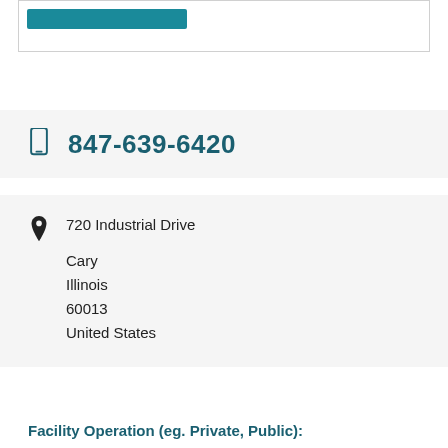[Figure (other): Top box with teal/blue filled button bar]
847-639-6420
720 Industrial Drive
Cary
Illinois
60013
United States
Facility Operation (eg. Private, Public):